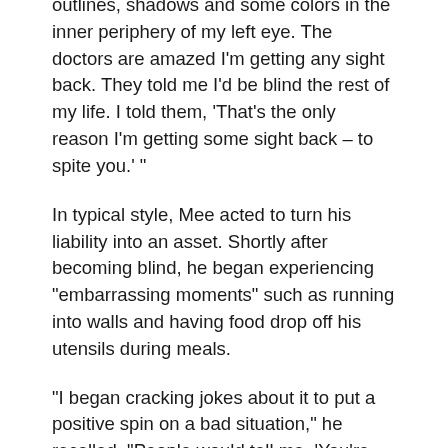outlines, shadows and some colors in the inner periphery of my left eye. The doctors are amazed I'm getting any sight back. They told me I'd be blind the rest of my life. I told them, 'That's the only reason I'm getting some sight back – to spite you.' "
In typical style, Mee acted to turn his liability into an asset. Shortly after becoming blind, he began experiencing "embarrassing moments" such as running into walls and having food drop off his utensils during meals.
"I began cracking jokes about it to put a positive spin on a bad situation," he recalled. "People would tell me, 'You're really funny, and you're overcoming (your disability) really well.' "
For the next two years, friends and family urged him to put together a stand-up routine based around his blindness. "So I started recording notes that turned into jokes," Mee said.